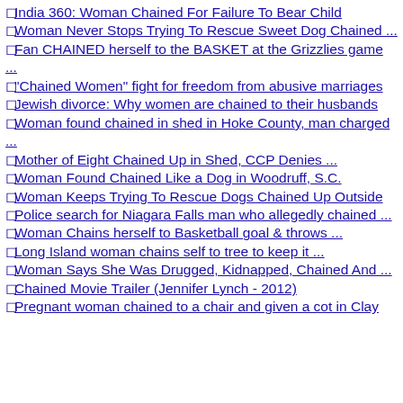India 360: Woman Chained For Failure To Bear Child
Woman Never Stops Trying To Rescue Sweet Dog Chained ...
Fan CHAINED herself to the BASKET at the Grizzlies game ...
"Chained Women" fight for freedom from abusive marriages
Jewish divorce: Why women are chained to their husbands
Woman found chained in shed in Hoke County, man charged ...
Mother of Eight Chained Up in Shed, CCP Denies ...
Woman Found Chained Like a Dog in Woodruff, S.C.
Woman Keeps Trying To Rescue Dogs Chained Up Outside
Police search for Niagara Falls man who allegedly chained ...
Woman Chains herself to Basketball goal & throws ...
Long Island woman chains self to tree to keep it ...
Woman Says She Was Drugged, Kidnapped, Chained And ...
Chained Movie Trailer (Jennifer Lynch - 2012)
Pregnant woman chained to a chair and given a cot in Clay